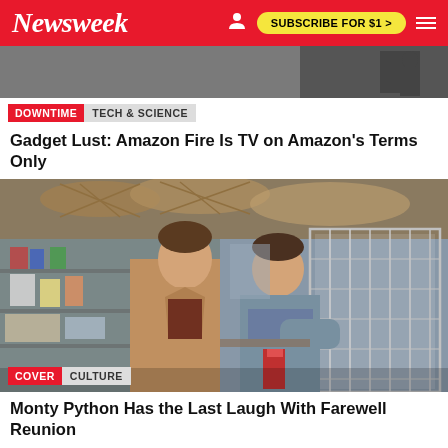Newsweek | SUBSCRIBE FOR $1 >
[Figure (photo): Partial top image showing a person in dark clothing against neutral background]
DOWNTIME  TECH & SCIENCE
Gadget Lust: Amazon Fire Is TV on Amazon's Terms Only
[Figure (photo): Two men in a pet shop, one in a tan jacket and one leaning over a bird cage. Monty Python Dead Parrot sketch scene in a shop with baskets overhead and shelves of products.]
COVER  CULTURE
Monty Python Has the Last Laugh With Farewell Reunion